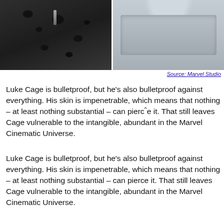[Figure (photo): Two side-by-side photos: left shows a dark hoodie/jacket with bullet holes, right shows a grey armored suit torso]
Source: Marvel Studio
Luke Cage is bulletproof, but he’s also bulletproof against everything. His skin is impenetrable, which means that nothing – at least nothing substantial – can pierce it. That still leaves Cage vulnerable to the intangible, abundant in the Marvel Cinematic Universe.
Luke Cage is bulletproof, but he’s also bulletproof against everything. His skin is impenetrable, which means that nothing – at least nothing substantial – can pierce it. That still leaves Cage vulnerable to the intangible, abundant in the Marvel Cinematic Universe.